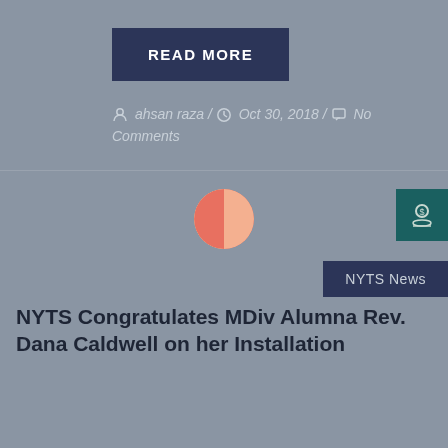READ MORE
ahsan raza / Oct 30, 2018 / No Comments
[Figure (illustration): Half-circle icon split pink and orange, representing a thumbnail or avatar image for an article]
NYTS News
NYTS Congratulates MDiv Alumna Rev. Dana Caldwell on her Installation
NYTS congratulates Alumna Rev. Dana Caldwell (MDiv 2017) on the September 2, 2018 launch of The Disciples for Christ Community Church in